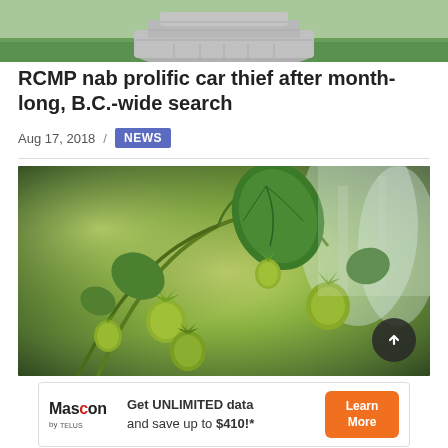[Figure (photo): Top portion of a stone circular garden feature with green grass background]
RCMP nab prolific car thief after month-long, B.C.-wide search
Aug 17, 2018 / NEWS
[Figure (photo): Close-up photo of green strawberry plants with unripe fruit and leaves, blurred background]
Get UNLIMITED data and save up to $410!* — Mascon by TELUS. Learn More.